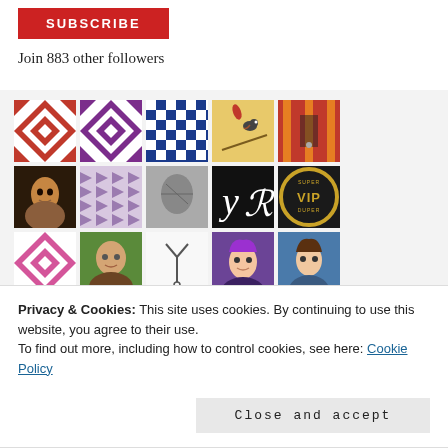[Figure (other): Red SUBSCRIBE button]
Join 883 other followers
[Figure (other): Grid of 20 follower avatar thumbnails arranged in 4 rows of 5]
Privacy & Cookies: This site uses cookies. By continuing to use this website, you agree to their use.
To find out more, including how to control cookies, see here: Cookie Policy
Close and accept